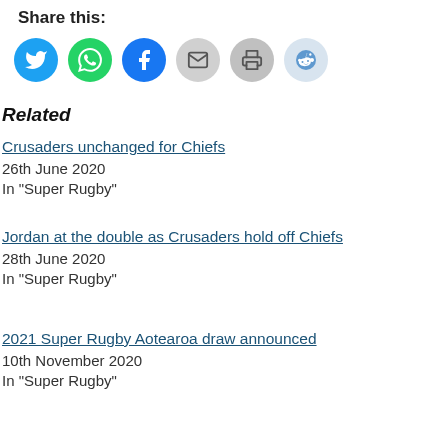Share this:
[Figure (illustration): Row of social sharing icon buttons: Twitter (blue), WhatsApp (green), Facebook (blue), Email (gray), Print (gray), Reddit (light blue)]
Related
Crusaders unchanged for Chiefs
26th June 2020
In "Super Rugby"
Jordan at the double as Crusaders hold off Chiefs
28th June 2020
In "Super Rugby"
2021 Super Rugby Aotearoa draw announced
10th November 2020
In "Super Rugby"